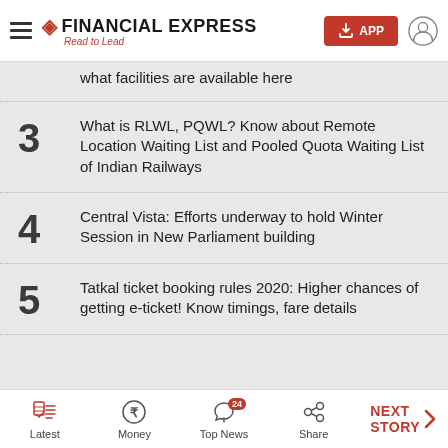Financial Express – Read to Lead
what facilities are available here
3 – What is RLWL, PQWL? Know about Remote Location Waiting List and Pooled Quota Waiting List of Indian Railways
4 – Central Vista: Efforts underway to hold Winter Session in New Parliament building
5 – Tatkal ticket booking rules 2020: Higher chances of getting e-ticket! Know timings, fare details
Latest | Money | Top News (24) | Share | NEXT STORY